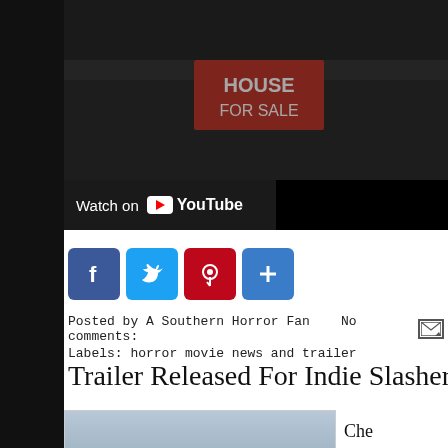[Figure (screenshot): YouTube video thumbnail showing a dark scene with a HOUSE FOR SALE sign, with 'Watch on YouTube' bar at bottom left]
[Figure (other): Social media share buttons: Facebook (blue), Twitter (blue), Pinterest (red), and a plus/share button (blue)]
Posted by A Southern Horror Fan    No comments:     Labels: horror movie news and trailer
Trailer Released For Indie Slasher "Rising
[Figure (photo): Movie still image with blue-grey sky background and text 'Rising Tides' overlaid at bottom]
Che slasher sta Farm Diet